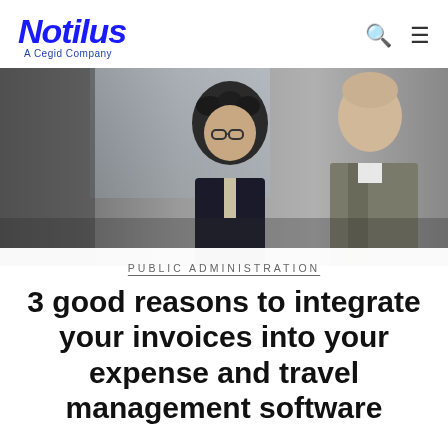Notilus — A Cegid Company
[Figure (photo): Two business men in suits looking at something together, black and white / desaturated office photo]
PUBLIC ADMINISTRATION
3 good reasons to integrate your invoices into your expense and travel management software